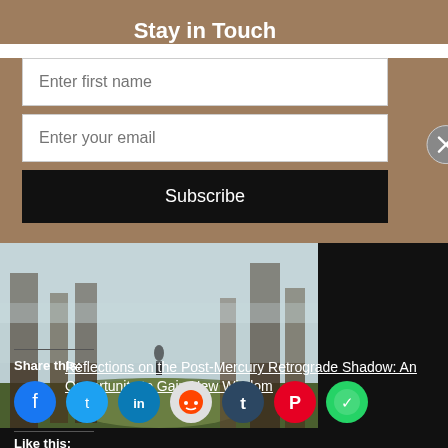Stay in Touch
[Figure (screenshot): Email subscription form with 'Enter first name' and 'Enter your email' input fields and a 'Subscribe' button on a tan/brown background, with a close (X) button on the right]
[Figure (photo): Misty forest path with a lone figure walking among tall trees in foggy conditions]
Reflections on the Post-Mercury Retrograde Shadow: An Opportunity to Gain New Wisdom
Share this:
[Figure (infographic): Social media share icons: Facebook, Twitter, LinkedIn, Reddit, Tumblr, Pinterest, WhatsApp]
Like this: